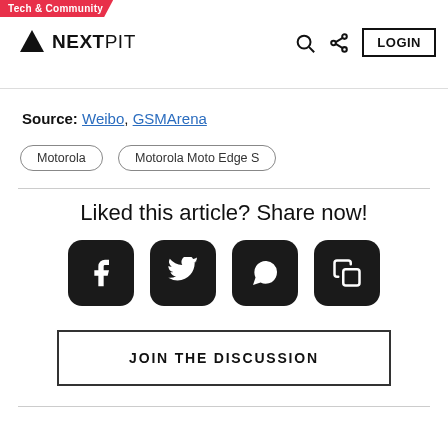Tech & Community | NEXTPIT | LOGIN
Source: Weibo, GSMArena
Motorola
Motorola Moto Edge S
Liked this article? Share now!
[Figure (other): Social share buttons: Facebook, Twitter, WhatsApp, Copy link]
JOIN THE DISCUSSION